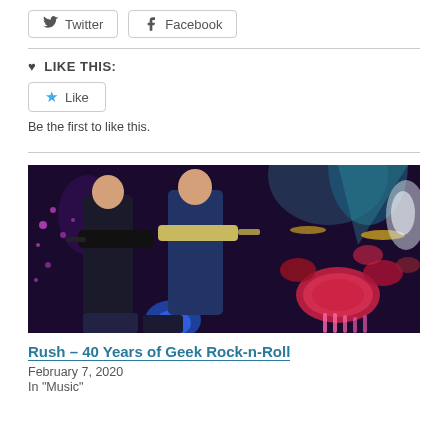[Figure (screenshot): Twitter and Facebook social share buttons]
LIKE THIS:
[Figure (screenshot): Like button with blue star icon]
Be the first to like this.
[Figure (photo): Concert photo of two guitarists performing on stage with a drum kit in the background, purple and blue stage lighting]
Rush – 40 Years of Geek Rock-n-Roll
February 7, 2020
In "Music"